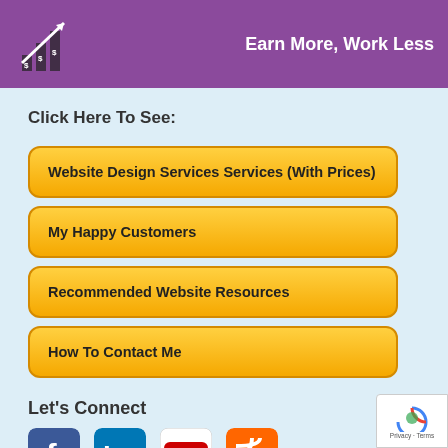Earn More, Work Less
Click Here To See:
Website Design Services Services (With Prices)
My Happy Customers
Recommended Website Resources
How To Contact Me
Let's Connect
Facebook Fans, LinkedIn Fans, YouTube Subscribers, RSS Subscribers = 61, 202